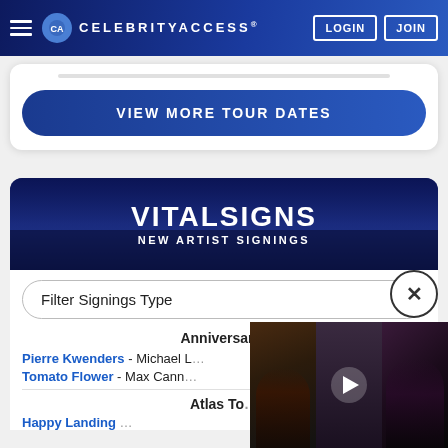CelebrityAccess — LOGIN | JOIN
VIEW MORE TOUR DATES
VITALSIGNS — NEW ARTIST SIGNINGS
Filter Signings Type
Anniversary
Pierre Kwenders - Michael L...
Tomato Flower - Max Cann...
Atlas To...
Happy Landing - ...
[Figure (screenshot): Video thumbnail overlay showing two panels with people and a play button in the center]